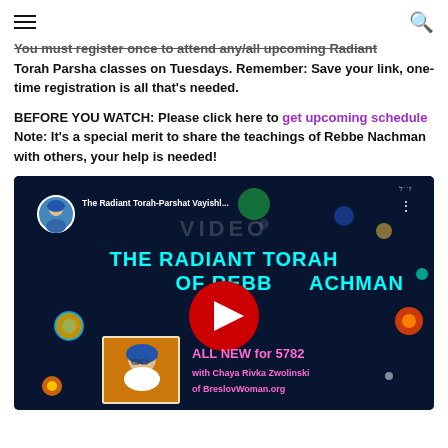☰  🔍
You must register once to attend any/all upcoming Radiant Torah Parsha classes on Tuesdays. Remember: Save your link, one-time registration is all that's needed.
BEFORE YOU WATCH: Please click here to get upcoming schedule Note: It's a special merit to share the teachings of Rebbe Nachman with others, your help is needed!
[Figure (screenshot): YouTube video thumbnail for 'The Radiant Torah-Parshat Vayishl...' showing THE RADIANT TORAH OF REBBE NACHMAN with YouTube play button, thumbnail image of Chaya Rivka Zwolinski, text ALL NEW for 5782 with Chaya Rivka Zwolinski of BreslovWoman.org]